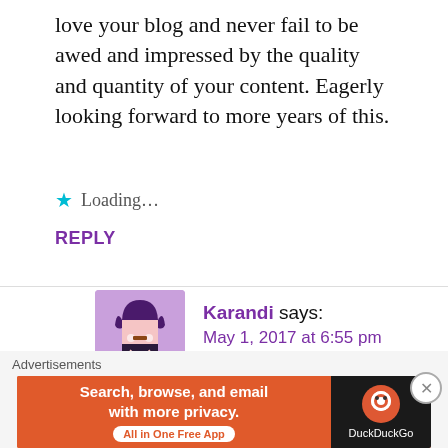love your blog and never fail to be awed and impressed by the quality and quantity of your content. Eagerly looking forward to more years of this.
Loading...
REPLY
Karandi says: May 1, 2017 at 6:55 pm
Thanks very much D. It has been great discussing anime with you throughout the year and I really look forward to more in the future.
[Figure (other): DuckDuckGo advertisement banner: 'Search, browse, and email with more privacy. All in One Free App' with DuckDuckGo logo on dark background]